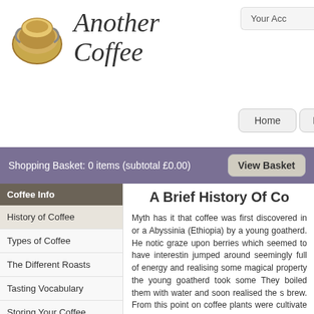Another Coffee
Your Acco
Home   Products
Shopping Basket: 0 items (subtotal £0.00)   View Basket
Coffee Info
History of Coffee
Types of Coffee
The Different Roasts
Tasting Vocabulary
Storing Your Coffee
Coffee Recipes
Making Espresso
Frothing Milk
Cleaning Your Machine
A Brief History Of Co
Myth has it that coffee was first discovered in or a Abyssinia (Ethiopia) by a young goatherd. He notic graze upon berries which seemed to have interestin jumped around seemingly full of energy and realising some magical property the young goatherd took some They boiled them with water and soon realised the s brew. From this point on coffee plants were cultivate precious crop.
The Ethiopians traded with the Arabs and coffee spr jealously guarded the coffee plant and although they